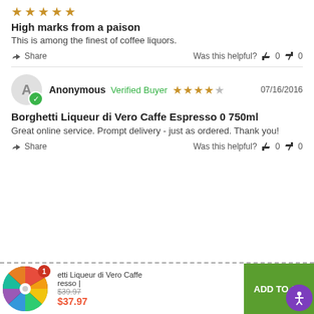[Figure (other): Five gold star rating icons]
High marks from a paison
This is among the finest of coffee liquors.
Share  Was this helpful? 👍 0 👎 0
Anonymous  Verified Buyer  ★★★★★  07/16/2016
Borghetti Liqueur di Vero Caffe Espresso 0 750ml
Great online service. Prompt delivery - just as ordered. Thank you!
Share  Was this helpful? 👍 0 👎 0
[Figure (other): Spin-the-wheel promotional widget with colorful wheel and badge showing 1]
etti Liqueur di Vero Caffe Espresso  $39.97  $37.97  ADD TO CA
[Figure (other): Accessibility icon button (blue circle with person)]